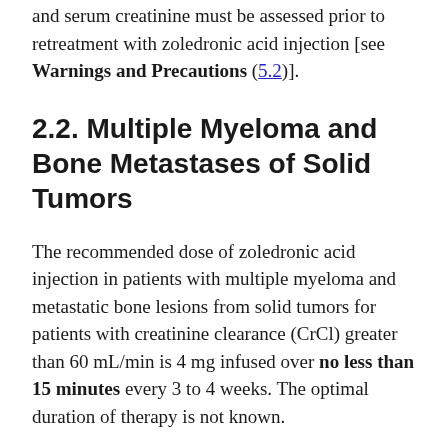and serum creatinine must be assessed prior to retreatment with zoledronic acid injection [see Warnings and Precautions (5.2)].
2.2. Multiple Myeloma and Bone Metastases of Solid Tumors
The recommended dose of zoledronic acid injection in patients with multiple myeloma and metastatic bone lesions from solid tumors for patients with creatinine clearance (CrCl) greater than 60 mL/min is 4 mg infused over no less than 15 minutes every 3 to 4 weeks. The optimal duration of therapy is not known.
Upon treatment initiation, the recommended